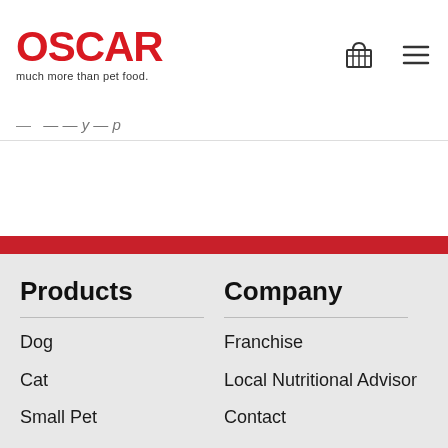OSCAR — much more than pet food.
Products
Dog
Cat
Small Pet
Wild Bird
Company
Franchise
Local Nutritional Advisor
Contact
About
Privacy
Terms